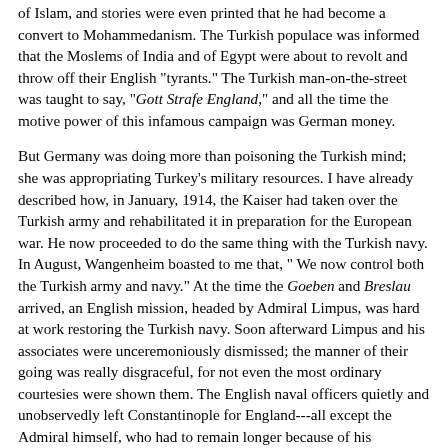of Islam, and stories were even printed that he had become a convert to Mohammedanism. The Turkish populace was informed that the Moslems of India and of Egypt were about to revolt and throw off their English "tyrants." The Turkish man-on-the-street was taught to say, "Gott Strafe England," and all the time the motive power of this infamous campaign was German money.
But Germany was doing more than poisoning the Turkish mind; she was appropriating Turkey's military resources. I have already described how, in January, 1914, the Kaiser had taken over the Turkish army and rehabilitated it in preparation for the European war. He now proceeded to do the same thing with the Turkish navy. In August, Wangenheim boasted to me that, " We now control both the Turkish army and navy." At the time the Goeben and Breslau arrived, an English mission, headed by Admiral Limpus, was hard at work restoring the Turkish navy. Soon afterward Limpus and his associates were unceremoniously dismissed; the manner of their going was really disgraceful, for not even the most ordinary courtesies were shown them. The English naval officers quietly and unobservedly left Constantinople for England---all except the Admiral himself, who had to remain longer because of his daughter's illness.
Night after night whole carloads of Germans landed at Constantinople from Berlin; the aggregations to the population finally amounted to 3,800 men, most of them sent to man the